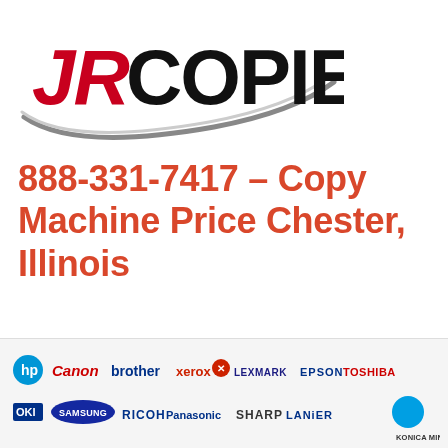[Figure (logo): JR Copier logo with red JR text and black COPIER text, with a swoosh arc underneath]
888-331-7417 – Copy Machine Price Chester, Illinois
[Figure (logo): Row of copier brand logos: HP, Canon, Brother, Xerox, Lexmark, Epson, Toshiba, OKI, Samsung, Ricoh, Panasonic, Sharp, Lanier, Konica Minolta]